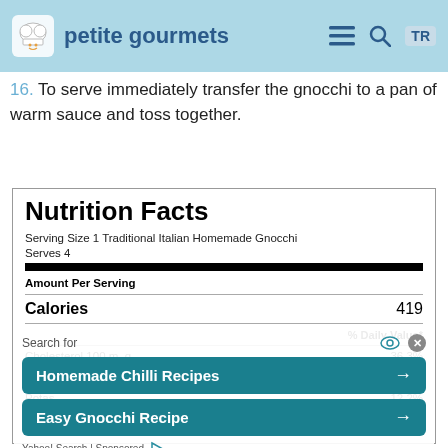petite gourmets
16. To serve immediately transfer the gnocchi to a pan of warm sauce and toss together.
| Nutrition Facts |
| --- |
| Serving Size 1 Traditional Italian Homemade Gnocchi |
| Serves 4 |
| Amount Per Serving |
| Calories | 419 |
| % Daily Value* |
| Cholesterol 100 mg | 36.3% |
| Sodium | 32.4% |
| Potassium | 12.2% |
| Protein | 32.6% |
Search for Homemade Chilli Recipes — Easy Gnocchi Recipe — Yahoo! Search | Sponsored